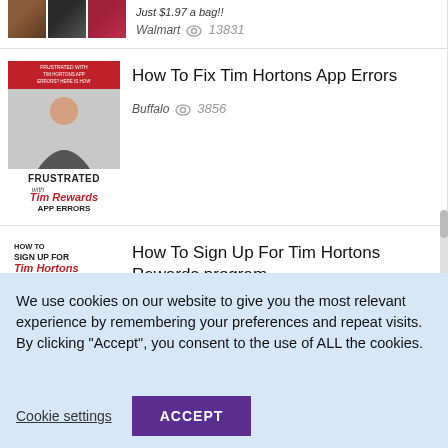Just $1.97 a bag!!
Walmart  13831
How To Fix Tim Hortons App Errors
Buffalo  3856
How To Sign Up For Tim Hortons Rewards program
Buffalo  37858
We use cookies on our website to give you the most relevant experience by remembering your preferences and repeat visits. By clicking “Accept”, you consent to the use of ALL the cookies.